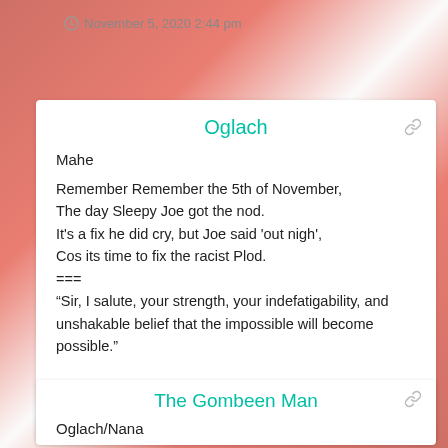November 5, 2020 2:44 pm
Oglach
Mahe
Remember Remember the 5th of November,
The day Sleepy Joe got the nod.
It's a fix he did cry, but Joe said 'out nigh',
Cos its time to fix the racist Plod.
===
“Sir, I salute, your strength, your indefatigability, and unshakable belief that the impossible will become possible.”

( Apologies to George Galloway for misquoting him 😘)
November 5, 2020 2:54 pm
The Gombeen Man
Oglach/Nana